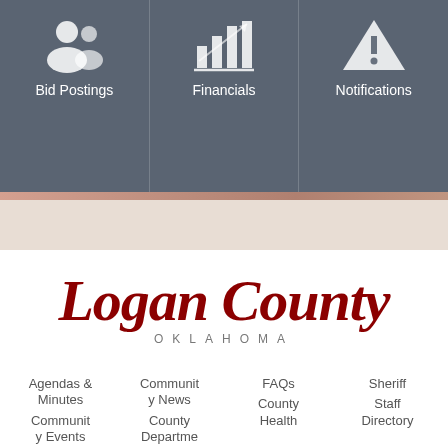[Figure (screenshot): Navigation banner with three sections: Bid Postings (people icon), Financials (bar chart icon), Notifications (warning triangle icon), shown on dark grey background]
Bid Postings
Financials
Notifications
[Figure (logo): Logan County Oklahoma logo — cursive dark red script 'Logan County' with 'OKLAHOMA' in spaced caps beneath]
Agendas & Minutes
Communit y News
FAQs
Sheriff
Communit y Events
County Departme
County Health
Staff Directory